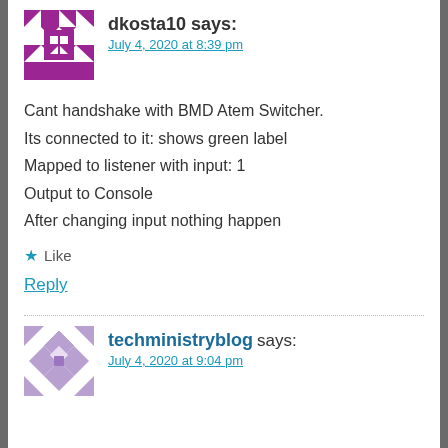[Figure (illustration): Purple geometric quilt-pattern avatar for user dkosta10]
dkosta10 says:
July 4, 2020 at 8:39 pm
Cant handshake with BMD Atem Switcher.
Its connected to it: shows green label
Mapped to listener with input: 1
Output to Console
After changing input nothing happen
★ Like
Reply
[Figure (illustration): Light purple geometric quilt-pattern avatar for user techministryblog]
techministryblog says:
July 4, 2020 at 9:04 pm